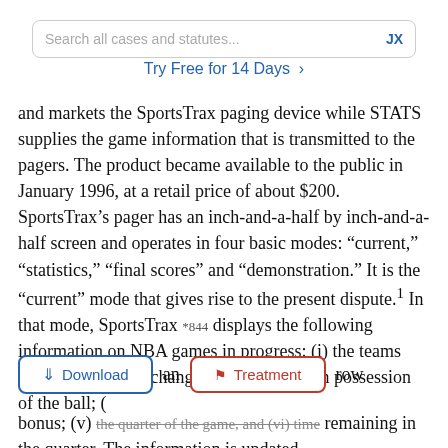[Figure (screenshot): Search bar with placeholder text 'Search all cases and statutes...' and 'JX' link on the right]
Try Free for 14 Days >
and markets the SportsTrax paging device while STATS supplies the game information that is transmitted to the pagers. The product became available to the public in January 1996, at a retail price of about $200. SportsTrax's pager has an inch-and-a-half by inch-and-a-half screen and operates in four basic modes: “current,” “statistics,” “final scores” and “demonstration.” It is the “current” mode that gives rise to the present dispute.¹ In that mode, SportsTrax *844 displays the following information on NBA games in progress: (i) the teams playing; (ii) score changes; (iii) the team in possession of the ball; (iv) ... and ... row bonus; (v) the quarter of the game, and (vi) time remaining in the quarter. The information is updated
[Figure (screenshot): Download button (blue outlined) and Treatment button (red outlined) overlaid on text]